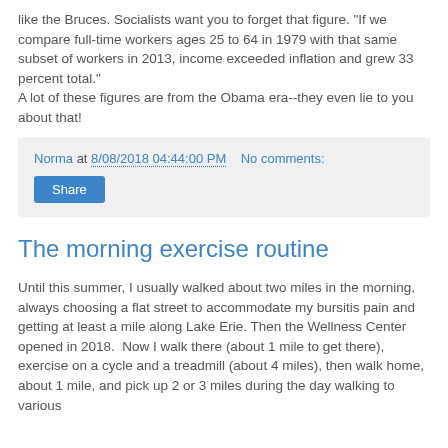like the Bruces. Socialists want you to forget that figure. "If we compare full-time workers ages 25 to 64 in 1979 with that same subset of workers in 2013, income exceeded inflation and grew 33 percent total."
A lot of these figures are from the Obama era--they even lie to you about that!
Norma at 8/08/2018 04:44:00 PM   No comments:
Share
The morning exercise routine
Until this summer, I usually walked about two miles in the morning, always choosing a flat street to accommodate my bursitis pain and getting at least a mile along Lake Erie. Then the Wellness Center opened in 2018.  Now I walk there (about 1 mile to get there), exercise on a cycle and a treadmill (about 4 miles), then walk home, about 1 mile, and pick up 2 or 3 miles during the day walking to various